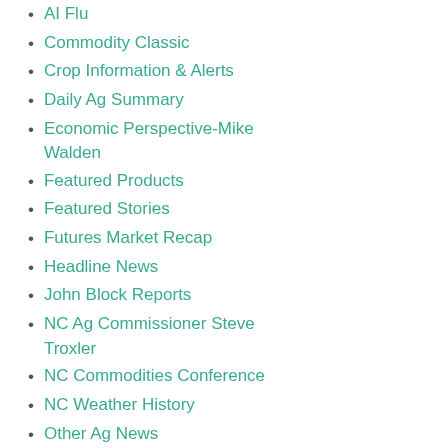AI Flu
Commodity Classic
Crop Information & Alerts
Daily Ag Summary
Economic Perspective-Mike Walden
Featured Products
Featured Stories
Futures Market Recap
Headline News
John Block Reports
NC Ag Commissioner Steve Troxler
NC Commodities Conference
NC Weather History
Other Ag News
SC Ag Commissioner Hugh Weathers
SFN Exclusive
Top Ag Headlines
Top Market News
Videos
Waters of the US